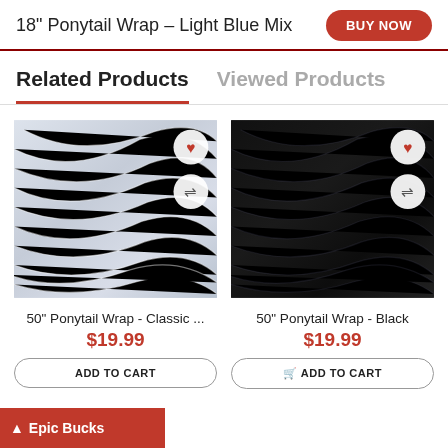18" Ponytail Wrap - Light Blue Mix
Related Products
Viewed Products
[Figure (photo): White/light blue hair ponytail wrap product image with heart and compare icons]
[Figure (photo): Black hair ponytail wrap product image with heart and compare icons]
50" Ponytail Wrap - Classic ...
$19.99
ADD TO CART
50" Ponytail Wrap - Black
$19.99
ADD TO CART
Epic Bucks